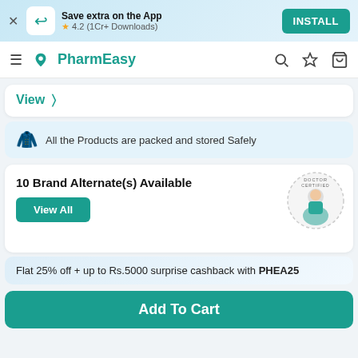Save extra on the App ★ 4.2 (1Cr+ Downloads) INSTALL
PharmEasy
View >
All the Products are packed and stored Safely
10 Brand Alternate(s) Available
View All
Flat 25% off + up to Rs.5000 surprise cashback with PHEA25
Add To Cart